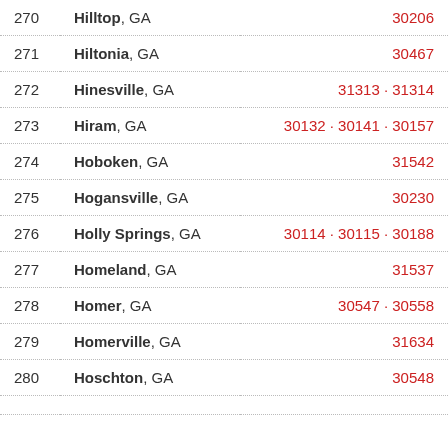| # | City | ZIP Code(s) |
| --- | --- | --- |
| 270 | Hilltop, GA | 30206 |
| 271 | Hiltonia, GA | 30467 |
| 272 | Hinesville, GA | 31313 · 31314 |
| 273 | Hiram, GA | 30132 · 30141 · 30157 |
| 274 | Hoboken, GA | 31542 |
| 275 | Hogansville, GA | 30230 |
| 276 | Holly Springs, GA | 30114 · 30115 · 30188 |
| 277 | Homeland, GA | 31537 |
| 278 | Homer, GA | 30547 · 30558 |
| 279 | Homerville, GA | 31634 |
| 280 | Hoschton, GA | 30548 |